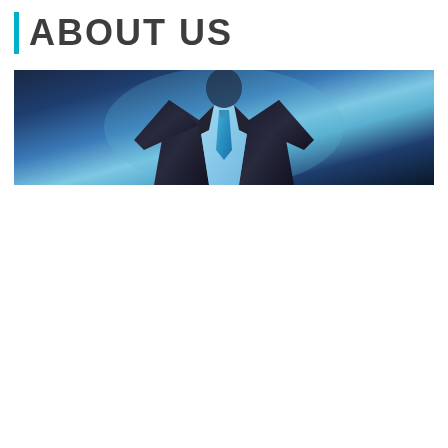ABOUT US
[Figure (photo): Banner photo of a businessman in a dark suit with blue tie, set against a blue-toned background. The image spans the full width of the content area.]